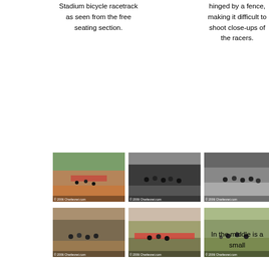Stadium bicycle racetrack as seen from the free seating section.
hinged by a fence, making it difficult to shoot close-ups of the racers.
series of races are held from morning to late afternoon.
[Figure (photo): Thumbnail photo of bicycle race on track, aerial view with cyclists on red/orange track]
[Figure (photo): Thumbnail photo of cyclists in a group on dark track surface]
[Figure (photo): Thumbnail photo of cyclists grouped on track, aerial view]
[Figure (photo): Thumbnail photo of stadium stands with crowd, wide view]
[Figure (photo): Thumbnail photo of cyclists on banked track with crowd in background]
[Figure (photo): Thumbnail photo of cyclists and a red banner/structure near track]
[Figure (photo): Thumbnail photo of cyclists on track with green trees in background]
[Figure (photo): Thumbnail photo of cyclists spread across track, aerial view]
In the middle is a small